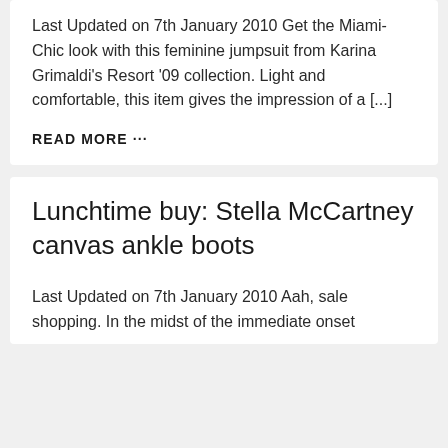Last Updated on 7th January 2010 Get the Miami-Chic look with this feminine jumpsuit from Karina Grimaldi's Resort '09 collection. Light and comfortable, this item gives the impression of a [...]
READ MORE ...
Lunchtime buy: Stella McCartney canvas ankle boots
Last Updated on 7th January 2010 Aah, sale shopping. In the midst of the immediate onset